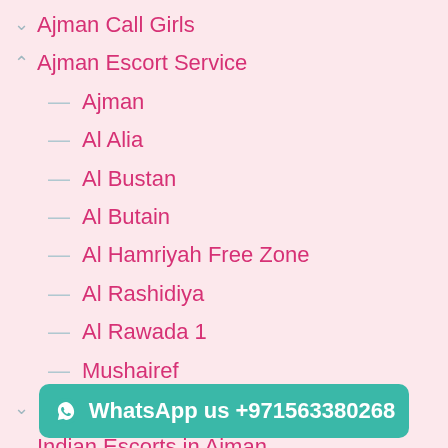Ajman Call Girls
Ajman Escort Service
Ajman
Al Alia
Al Bustan
Al Butain
Al Hamriyah Free Zone
Al Rashidiya
Al Rawada 1
Mushairef
Indian Call Girls in Ajman
Indian Escorts in Ajman
Pakistani Escorts in Ajman
WhatsApp us +971563380268